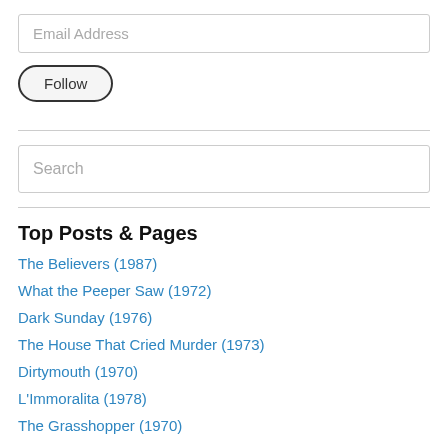Email Address
Follow
Search
Top Posts & Pages
The Believers (1987)
What the Peeper Saw (1972)
Dark Sunday (1976)
The House That Cried Murder (1973)
Dirtymouth (1970)
L'Immoralita (1978)
The Grasshopper (1970)